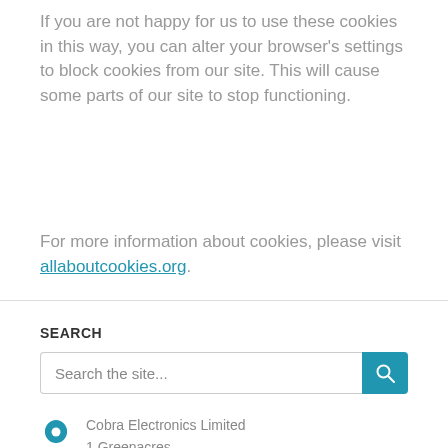If you are not happy for us to use these cookies in this way, you can alter your browser's settings to block cookies from our site. This will cause some parts of our site to stop functioning.
For more information about cookies, please visit allaboutcookies.org.
SEARCH
Search the site...
Cobra Electronics Limited
1 Greenacres
Bordon
Hampshire
GU35 0EX
UK